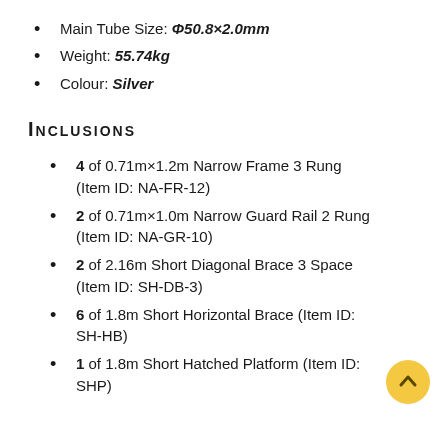Main Tube Size: Φ50.8×2.0mm
Weight: 55.74kg
Colour: Silver
Inclusions
4 of 0.71m×1.2m Narrow Frame 3 Rung (Item ID: NA-FR-12)
2 of 0.71m×1.0m Narrow Guard Rail 2 Rung (Item ID: NA-GR-10)
2 of 2.16m Short Diagonal Brace 3 Space (Item ID: SH-DB-3)
6 of 1.8m Short Horizontal Brace (Item ID: SH-HB)
1 of 1.8m Short Hatched Platform (Item ID: SHP)